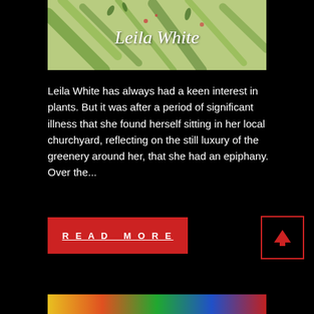[Figure (illustration): Watercolor painting of green plants/foliage with the text 'Leila White' in italic white script overlaid on it]
Leila White has always had a keen interest in plants. But it was after a period of significant illness that she found herself sitting in her local churchyard, reflecting on the still luxury of the greenery around her, that she had an epiphany. Over the...
READ MORE
[Figure (other): Red upward arrow scroll-to-top button with red border]
[Figure (illustration): Colorful strip at the bottom with orange, green, blue and red sections, partially visible]